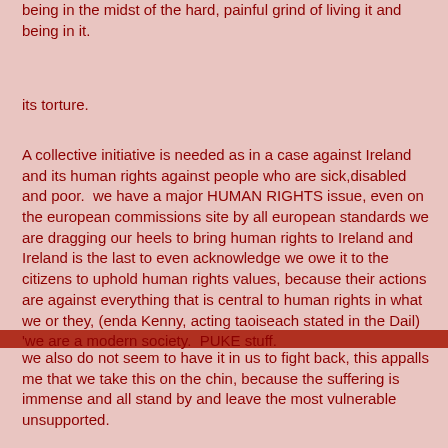being in the midst of the hard, painful grind of living it and being in it.
its torture.
A collective initiative is needed as in a case against Ireland and its human rights against people who are sick,disabled and poor.  we have a major HUMAN RIGHTS issue, even on the european commissions site by all european standards we are dragging our heels to bring human rights to Ireland and Ireland is the last to even acknowledge we owe it to the citizens to uphold human rights values, because their actions are against everything that is central to human rights in what we or they, (enda Kenny, acting taoiseach stated in the Dail) 'we are a modern society.  PUKE stuff.
we also do not seem to have it in us to fight back, this appalls me that we take this on the chin, because the suffering is immense and all stand by and leave the most vulnerable unsupported.